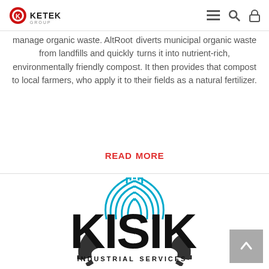KETEK GROUP
manage organic waste. AltRoot diverts municipal organic waste from landfills and quickly turns it into nutrient-rich, environmentally friendly compost. It then provides that compost to local farmers, who apply it to their fields as a natural fertilizer.
READ MORE
[Figure (logo): KISIK Industrial Services logo with gear and fingerprint-style arc graphic in black and cyan blue]